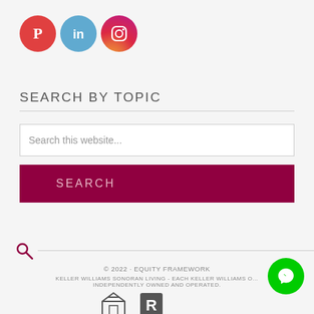[Figure (logo): Pinterest, LinkedIn, and Instagram social media icons in circles]
SEARCH BY TOPIC
Search this website...
SEARCH
[Figure (other): Search icon with horizontal line]
© 2022 · EQUITY FRAMEWORK
KELLER WILLIAMS SONORAN LIVING - EACH KELLER WILLIAMS O... INDEPENDENTLY OWNED AND OPERATED.
[Figure (logo): Equal Housing and other real estate compliance logos at bottom]
[Figure (logo): Facebook Messenger chat button (green circle)]